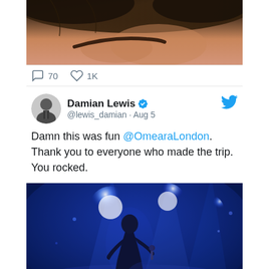[Figure (photo): Close-up cropped photo of a person's forehead and eyebrow area, dark hair visible, warm skin tones]
70  1K
[Figure (photo): Black and white profile photo of Damian Lewis as Twitter avatar]
Damian Lewis @lewis_damian · Aug 5
Damn this was fun @OmearaLondon. Thank you to everyone who made the trip. You rocked.
[Figure (photo): Concert photo with blue stage lighting showing a performer on stage with bright spotlights behind them]